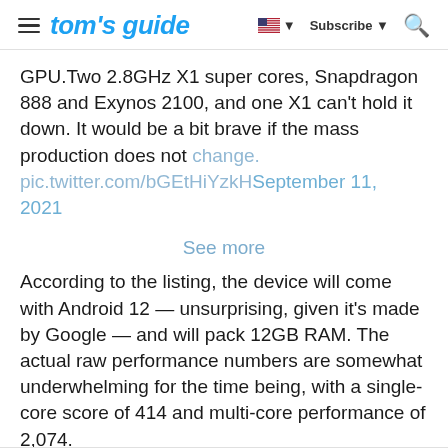tom's guide | Subscribe | Search
GPU.Two 2.8GHz X1 super cores, Snapdragon 888 and Exynos 2100, and one X1 can't hold it down. It would be a bit brave if the mass production does not change. pic.twitter.com/bGEtHiYzkH September 11, 2021
See more
According to the listing, the device will come with Android 12 — unsurprising, given it's made by Google — and will pack 12GB RAM. The actual raw performance numbers are somewhat underwhelming for the time being, with a single-core score of 414 and multi-core performance of 2,074.